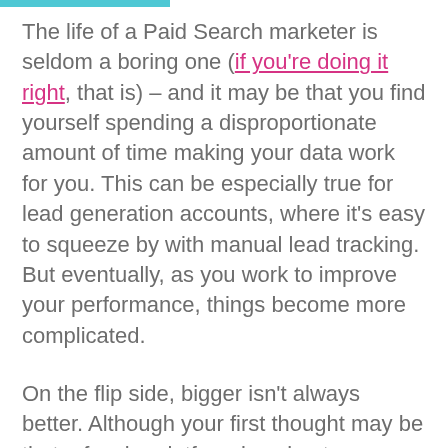The life of a Paid Search marketer is seldom a boring one (if you're doing it right, that is) – and it may be that you find yourself spending a disproportionate amount of time making your data work for you. This can be especially true for lead generation accounts, where it's easy to squeeze by with manual lead tracking. But eventually, as you work to improve your performance, things become more complicated.
On the flip side, bigger isn't always better. Although your first thought may be that a fancier platform is going to